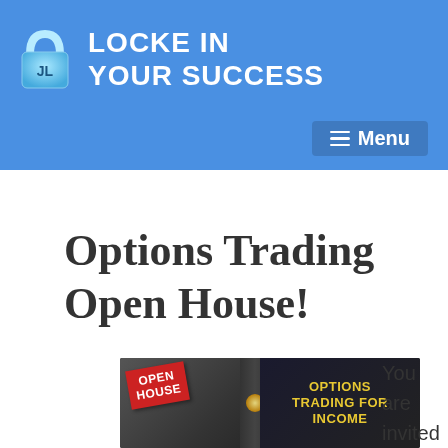LOCKE IN YOUR SUCCESS
Options Trading Open House!
[Figure (photo): Open House banner image showing 'OPEN HOUSE' red badge on left and 'OPTIONS TRADING FOR INCOME' in yellow text on dark background on right]
You are invited